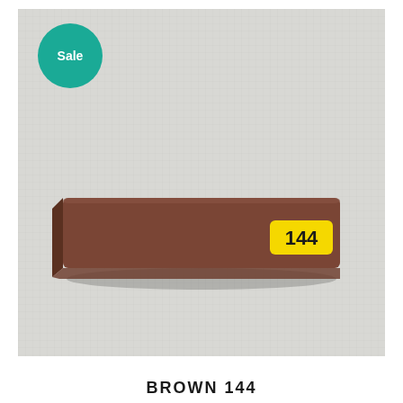[Figure (photo): A brown rectangular tile/bar labeled with number 144 on a yellow sticker, placed on a light grey grid-textured background. A teal 'Sale' badge appears in the top-left corner of the image.]
BROWN 144